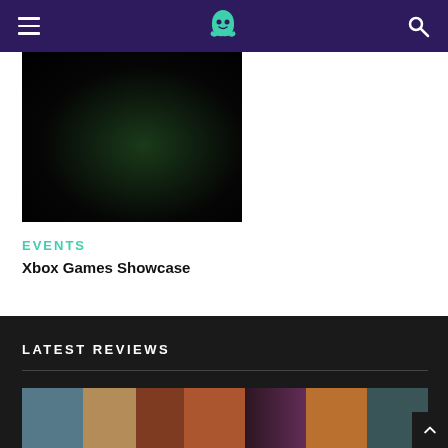Navigation header with hamburger menu, ghost logo, and search icon
[Figure (photo): Dark game screenshot, mostly black with a faint greenish glow in the center]
EVENTS
Xbox Games Showcase
LATEST REVIEWS
[Figure (photo): Blurred colorful game screenshot showing various characters and items]